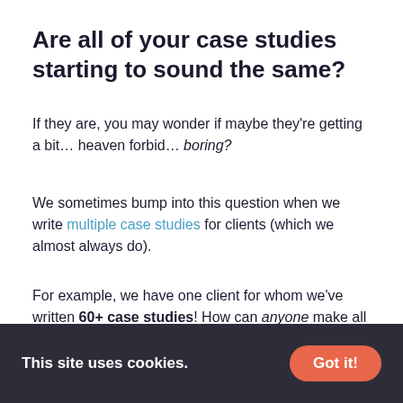Are all of your case studies starting to sound the same?
If they are, you may wonder if maybe they're getting a bit… heaven forbid… boring?
We sometimes bump into this question when we write multiple case studies for clients (which we almost always do).
For example, we have one client for whom we've written 60+ case studies! How can anyone make all those case studies unique?
It might seem like a terrifying concern—but in reality, that's the wrong way to think about it.
When you consider how sales and marketing use case
This site uses cookies. Got it!